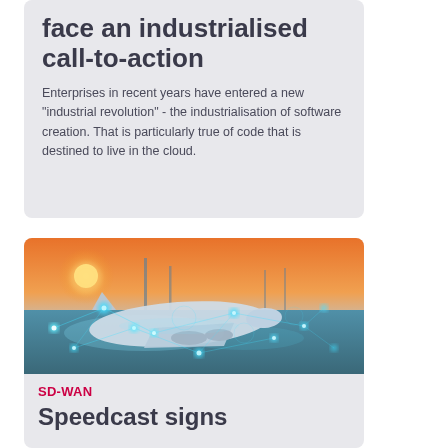face an industrialised call-to-action
Enterprises in recent years have entered a new "industrial revolution" - the industrialisation of software creation. That is particularly true of code that is destined to live in the cloud.
[Figure (photo): Aerial view of an airport tarmac at sunset with an airplane, overlaid with blue glowing digital network nodes and connection lines suggesting technology or connectivity]
SD-WAN
Speedcast signs